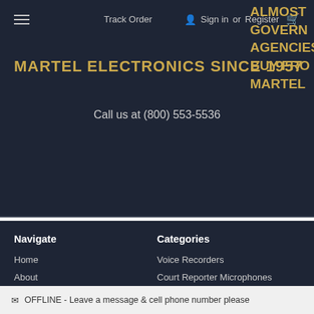Track Order | Sign in or Register
MARTEL ELECTRONICS SINCE 1957
ALMOST GOVERNMENT AGENCIES BUY FROM MARTEL
Call us at (800) 553-5536
Navigate
Home
About
Purchase Order
Categories
Voice Recorders
Court Reporter Microphones
Court Reporting Recorders &
OFFLINE - Leave a message & cell phone number please